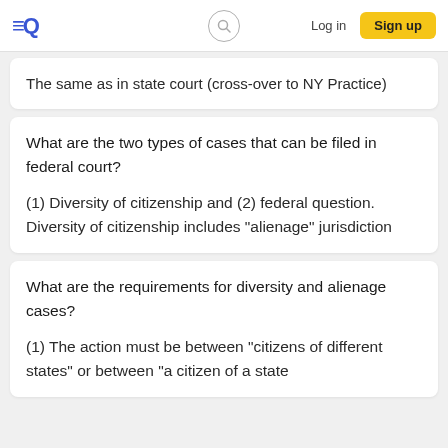≡Q  [search]  Log in  Sign up
The same as in state court (cross-over to NY Practice)
What are the two types of cases that can be filed in federal court?

(1) Diversity of citizenship and (2) federal question. Diversity of citizenship includes "alienage" jurisdiction
What are the requirements for diversity and alienage cases?

(1) The action must be between "citizens of different states" or between "a citizen of a state and a citizen of a foreign country (alienage)" MR